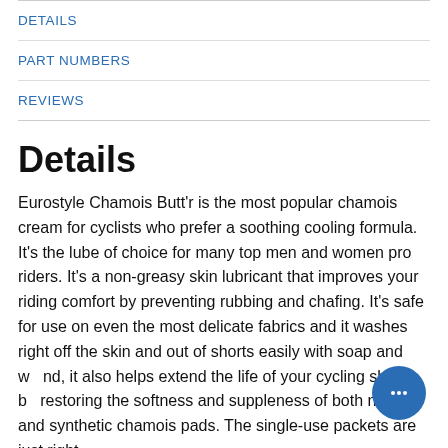DETAILS
PART NUMBERS
REVIEWS
Details
Eurostyle Chamois Butt'r is the most popular chamois cream for cyclists who prefer a soothing cooling formula. It's the lube of choice for many top men and women pro riders. It's a non-greasy skin lubricant that improves your riding comfort by preventing rubbing and chafing. It's safe for use on even the most delicate fabrics and it washes right off the skin and out of shorts easily with soap and w nd, it also helps extend the life of your cycling shorts b restoring the softness and suppleness of both natural and synthetic chamois pads. The single-use packets are just right